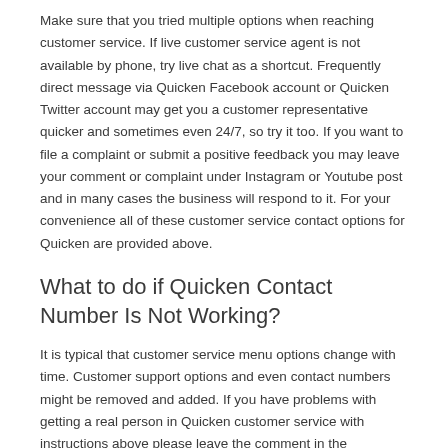Make sure that you tried multiple options when reaching customer service. If live customer service agent is not available by phone, try live chat as a shortcut. Frequently direct message via Quicken Facebook account or Quicken Twitter account may get you a customer representative quicker and sometimes even 24/7, so try it too. If you want to file a complaint or submit a positive feedback you may leave your comment or complaint under Instagram or Youtube post and in many cases the business will respond to it. For your convenience all of these customer service contact options for Quicken are provided above.
What to do if Quicken Contact Number Is Not Working?
It is typical that customer service menu options change with time. Customer support options and even contact numbers might be removed and added. If you have problems with getting a real person in Quicken customer service with instructions above please leave the comment in the comments section below and we will improve this guide. We are constantly monitoring the customer service contact numbers, e-mail and chats to make sure the instructions on How to Talk to a Live Person in Quicken Customer Service are the most current.